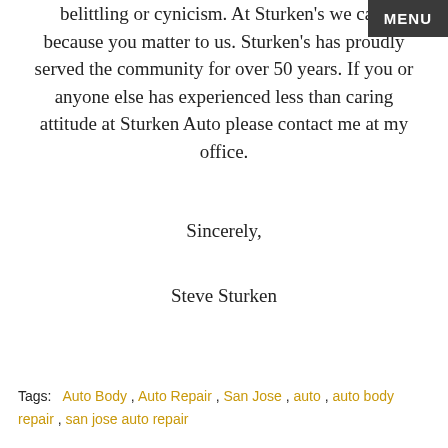belittling or cynicism. At Sturken's we care because you matter to us. Sturken's has proudly served the community for over 50 years. If you or anyone else has experienced less than caring attitude at Sturken Auto please contact me at my office.
Sincerely,
Steve Sturken
Tags:  Auto Body , Auto Repair , San Jose , auto , auto body repair , san jose auto repair